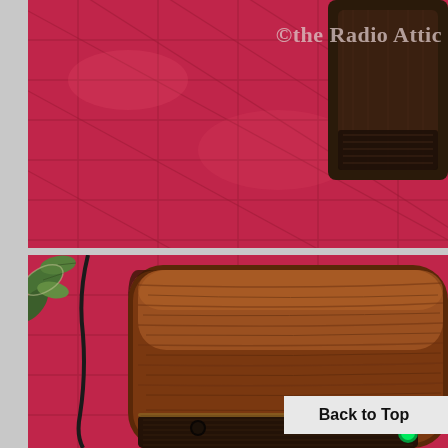[Figure (photo): Close-up of a magenta/pink quilted fabric surface with a dark vintage radio object partially visible in the upper right corner. Watermark text '©the Radio Attic' overlaid in the upper right.]
[Figure (photo): Close-up of a vintage wooden radio cabinet with warm brown wood grain finish, sitting on a pink quilted fabric background. Green indicator light and speaker grille visible at bottom. A black cord is visible on the left side. Tropical plant foliage visible at upper left.]
©the Radio Attic
Back to Top